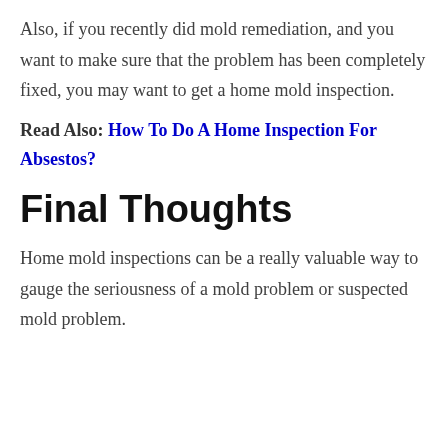Also, if you recently did mold remediation, and you want to make sure that the problem has been completely fixed, you may want to get a home mold inspection.
Read Also: How To Do A Home Inspection For Absestos?
Final Thoughts
Home mold inspections can be a really valuable way to gauge the seriousness of a mold problem or suspected mold problem.